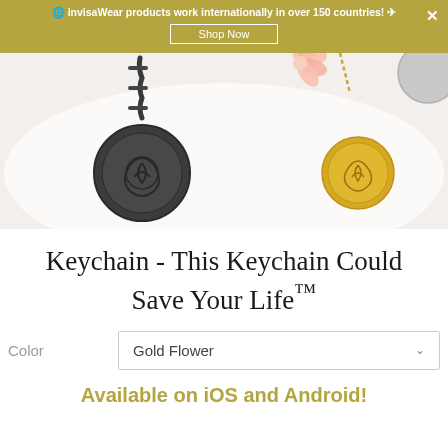🌐 invisaWear products work internationally in over 150 countries! ✈
[Figure (photo): Photo of invisaWear keychain pendants on a white marble surface. A dark gunmetal round pendant on a black chain is in the foreground-left, and a gold round pendant on a gold chain is to the right. A pink flower charm is partially visible at top center.]
Keychain - This Keychain Could Save Your Life™
Color   Gold Flower
Available on iOS and Android!